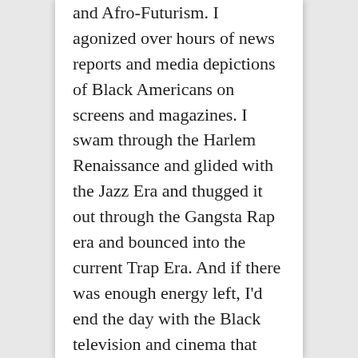and Afro-Futurism. I agonized over hours of news reports and media depictions of Black Americans on screens and magazines. I swam through the Harlem Renaissance and glided with the Jazz Era and thugged it out through the Gangsta Rap era and bounced into the current Trap Era. And if there was enough energy left, I'd end the day with the Black television and cinema that turns my life into binge-worthy entertainment. I let all this existence and cultural energy convert into noise, and then carefully translated the noise into tangible fabrics in the form of collages, and videomontages, and beds of audio and sculptural objects. This “basic training”